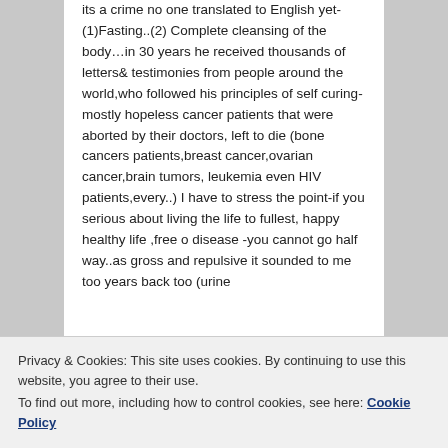its a crime no one translated to English yet- (1)Fasting..(2) Complete cleansing of the body…in 30 years he received thousands of letters& testimonies from people around the world,who followed his principles of self curing- mostly hopeless cancer patients that were aborted by their doctors, left to die (bone cancers patients,breast cancer,ovarian cancer,brain tumors, leukemia even HIV patients,every..) I have to stress the point-if you serious about living the life to fullest, happy healthy life ,free o disease -you cannot go half way..as gross and repulsive it sounded to me too years back too (urine
Privacy & Cookies: This site uses cookies. By continuing to use this website, you agree to their use.
To find out more, including how to control cookies, see here: Cookie Policy
will be rewarded. The books are a life